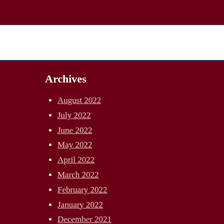Archives
August 2022
July 2022
June 2022
May 2022
April 2022
March 2022
February 2022
January 2022
December 2021
November 2021
October 2021